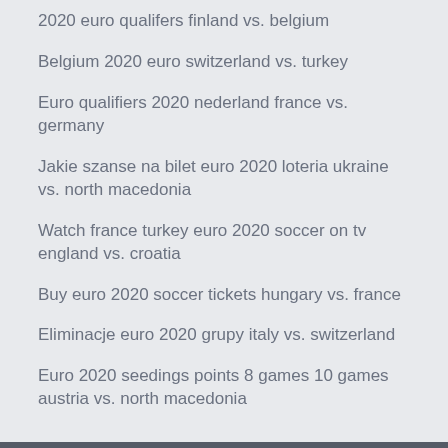2020 euro qualifers finland vs. belgium
Belgium 2020 euro switzerland vs. turkey
Euro qualifiers 2020 nederland france vs. germany
Jakie szanse na bilet euro 2020 loteria ukraine vs. north macedonia
Watch france turkey euro 2020 soccer on tv england vs. croatia
Buy euro 2020 soccer tickets hungary vs. france
Eliminacje euro 2020 grupy italy vs. switzerland
Euro 2020 seedings points 8 games 10 games austria vs. north macedonia